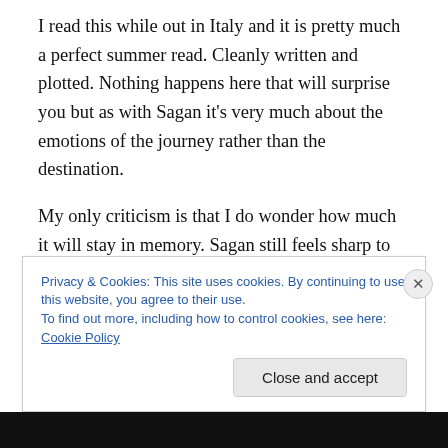I read this while out in Italy and it is pretty much a perfect summer read. Cleanly written and plotted. Nothing happens here that will surprise you but as with Sagan it's very much about the emotions of the journey rather than the destination.
My only criticism is that I do wonder how much it will stay in memory. Sagan still feels sharp to me, but I don't have a sense yet whether this will in say a month's time.
Finally, I'd be very interested to hear the thoughts of any female readers who've tried this. It's written by a man and
Privacy & Cookies: This site uses cookies. By continuing to use this website, you agree to their use.
To find out more, including how to control cookies, see here: Cookie Policy